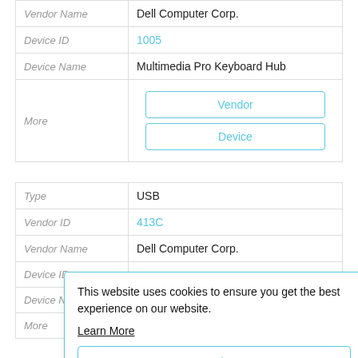| Vendor Name | Dell Computer Corp. |
| Device ID | 1005 |
| Device Name | Multimedia Pro Keyboard Hub |
| More | Vendor | Device |
| Type | USB |
| Vendor ID | 413C |
| Vendor Name | Dell Computer Corp. |
| Device ID |  |
| Device Name |  |
| More | Got it! |
This website uses cookies to ensure you get the best experience on our website. Learn More
Got it!